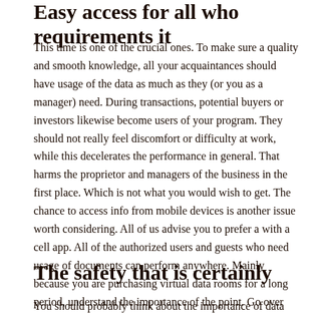Easy access for all who requirements it
This time is one of the crucial ones. To make sure a quality and smooth knowledge, all your acquaintances should have usage of the data as much as they (or you as a manager) need. During transactions, potential buyers or investors likewise become users of your program. They should not really feel discomfort or difficulty at work, while this decelerates the performance in general. That harms the proprietor and managers of the business in the first place. Which is not what you would wish to get. The chance to access info from mobile devices is another issue worth considering. All of us advise you to prefer a with a cell app. All of the authorized users and guests who need usage of documents can perform anywhere. Mainly because you are purchasing virtual data rooms for a long period, understand the importance of the point. Go over this issue with . In this way, you will not run into gaps in the future, and therefore stress and frustration.
The safety that is certainly
You should probably think about the importance of data protection as well...